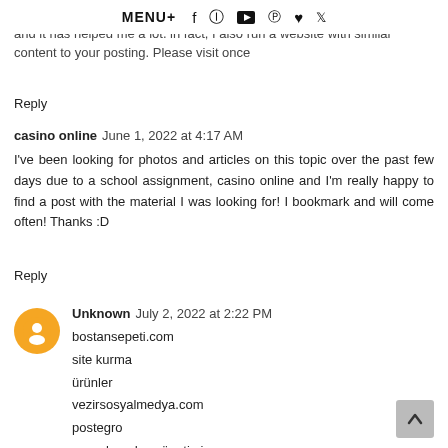MENU+ f @ [youtube] @ [heart] [twitter]
Hello, I read the post well 미미미미미미미 It's a really interesting topic and it has helped me a lot. in fact, I also run a website with similar content to your posting. Please visit once
Reply
casino online  June 1, 2022 at 4:17 AM
I've been looking for photos and articles on this topic over the past few days due to a school assignment, casino online and I'm really happy to find a post with the material I was looking for! I bookmark and will come often! Thanks :D
Reply
[Figure (illustration): Orange circular avatar with white blogger icon]
Unknown  July 2, 2022 at 2:22 PM
bostansepeti.com
site kurma
ürünler
vezirsosyalmedya.com
postegro
sosyal medya yönetimi
surucukursuburada.com